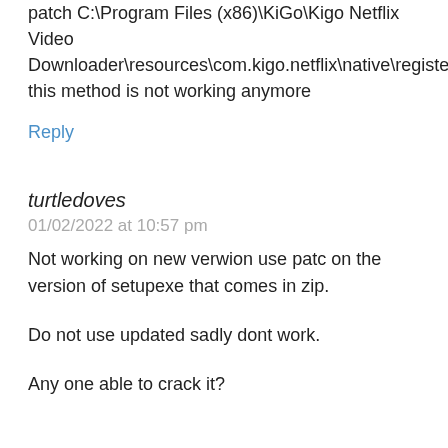patch C:\Program Files (x86)\KiGo\Kigo Netflix Video Downloader\resources\com.kigo.netflix\native\register_wrapper.dll this method is not working anymore
Reply
turtledoves
01/02/2022 at 10:57 pm
Not working on new verwion use patc on the version of setupexe that comes in zip.
Do not use updated sadly dont work.
Any one able to crack it?